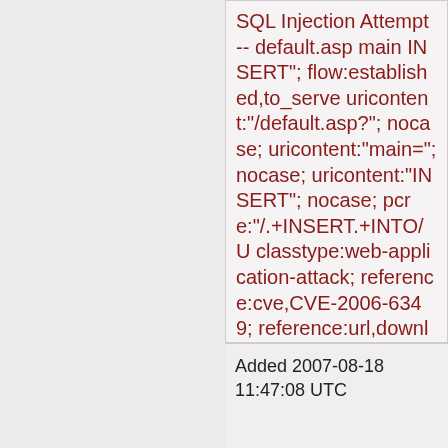SQL Injection Attempt -- default.asp main INSERT"; flow:established,to_server; uricontent:"/default.asp?"; nocase; uricontent:"main="; nocase; uricontent:"INSERT"; nocase; pcre:"/.+INSERT.+INTO/U; classtype:web-application-attack; reference:cve,CVE-2006-6349; reference:url,downloads.s sid:2006732; rev:2;)
Added 2007-08-18 11:47:08 UTC